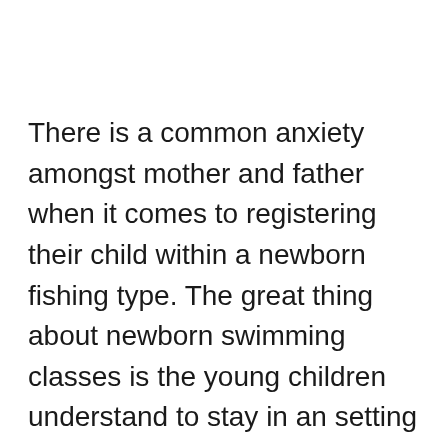There is a common anxiety amongst mother and father when it comes to registering their child within a newborn fishing type. The great thing about newborn swimming classes is the young children understand to stay in an setting